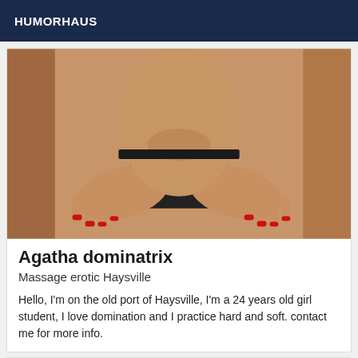HUMORHAUS
[Figure (photo): Close-up photo of a woman's torso/hips area wearing black bikini underwear with a thin string, hands with red nail polish on hips]
Agatha dominatrix
Massage erotic Haysville
Hello, I'm on the old port of Haysville, I'm a 24 years old girl student, I love domination and I practice hard and soft. contact me for more info.
Online